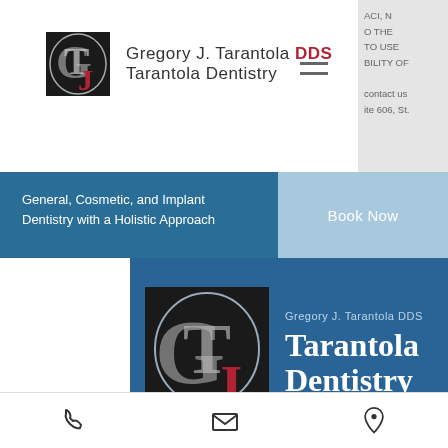[Figure (logo): Tarantola Dentistry logo with GT monogram and text]
ACI, IN
O THE
TO USE
BILITY OF
contact us
ite 606, St.
General, Cosmetic, and Implant Dentistry with a Holistic Approach
Book Now
[Figure (logo): Tarantola Dentistry central logo with GT monogram in dark blue background]
Gregory J. Tarantola DDS
Tarantola
Dentistry
© 2021 Tarantola Holistic Dentistry. All Rights Reserved.
Proudly Created by YP Design Studio.
Privacy | Accessibility | Disclaimer | Cancellation Policy
[Figure (infographic): Bottom bar with phone, email, and location icons]